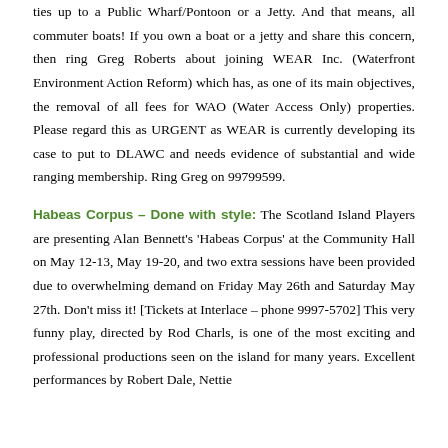ties up to a Public Wharf/Pontoon or a Jetty. And that means, all commuter boats! If you own a boat or a jetty and share this concern, then ring Greg Roberts about joining WEAR Inc. (Waterfront Environment Action Reform) which has, as one of its main objectives, the removal of all fees for WAO (Water Access Only) properties. Please regard this as URGENT as WEAR is currently developing its case to put to DLAWC and needs evidence of substantial and wide ranging membership. Ring Greg on 99799599.
Habeas Corpus – Done with style: The Scotland Island Players are presenting Alan Bennett's 'Habeas Corpus' at the Community Hall on May 12-13, May 19-20, and two extra sessions have been provided due to overwhelming demand on Friday May 26th and Saturday May 27th. Don't miss it! [Tickets at Interlace – phone 9997-5702] This very funny play, directed by Rod Charls, is one of the most exciting and professional productions seen on the island for many years. Excellent performances by Robert Dale, Nettie